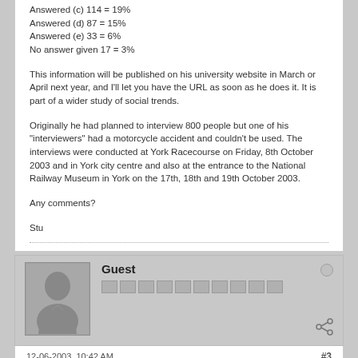Answered (c) 114 = 19%
Answered (d) 87 = 15%
Answered (e) 33 = 6%
No answer given 17 = 3%
This information will be published on his university website in March or April next year, and I'll let you have the URL as soon as he does it. It is part of a wider study of social trends.
Originally he had planned to interview 800 people but one of his "interviewers" had a motorcycle accident and couldn't be used. The interviews were conducted at York Racecourse on Friday, 8th October 2003 and in York city centre and also at the entrance to the National Railway Museum in York on the 17th, 18th and 19th October 2003.
Any comments?
Stu
Guest
12-06-2003, 10:42 AM    #3